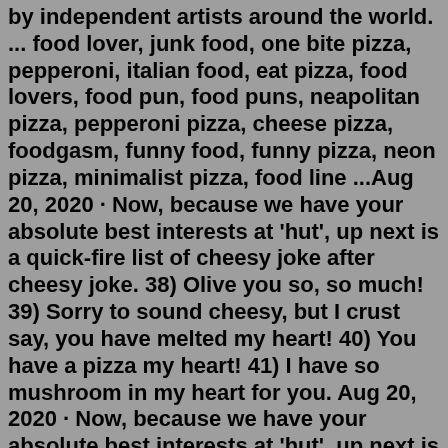by independent artists around the world. ... food lover, junk food, one bite pizza, pepperoni, italian food, eat pizza, food lovers, food pun, food puns, neapolitan pizza, pepperoni pizza, cheese pizza, foodgasm, funny food, funny pizza, neon pizza, minimalist pizza, food line ...Aug 20, 2020 · Now, because we have your absolute best interests at 'hut', up next is a quick-fire list of cheesy joke after cheesy joke. 38) Olive you so, so much! 39) Sorry to sound cheesy, but I crust say, you have melted my heart! 40) You have a pizza my heart! 41) I have so mushroom in my heart for you. Aug 20, 2020 · Now, because we have your absolute best interests at 'hut', up next is a quick-fire list of cheesy joke after cheesy joke. 38) Olive you so, so much! 39) Sorry to sound cheesy, but I crust say, you have melted my heart! 40) You have a pizza my heart! 41) I have so mushroom in my heart for you. Line a 30 cm pizza tray or a large baking sheet with parchment paper. Heat the oil in a large saucepan. Add mushrooms, onion, garlic and oregano and fry over a medium heat until the mushrooms are ou...